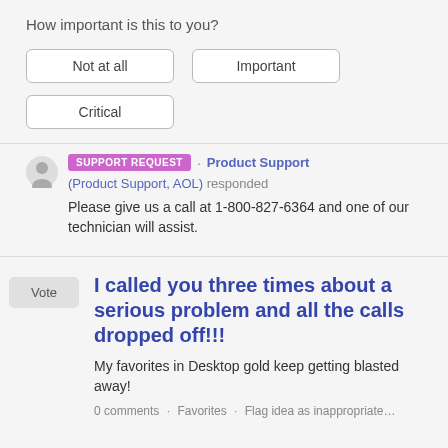How important is this to you?
Not at all
Important
Critical
SUPPORT REQUEST · Product Support
(Product Support, AOL) responded
Please give us a call at 1-800-827-6364 and one of our technician will assist.
I called you three times about a serious problem and all the calls dropped off!!!
My favorites in Desktop gold keep getting blasted away!
0 comments · Favorites · Flag idea as inappropriate…